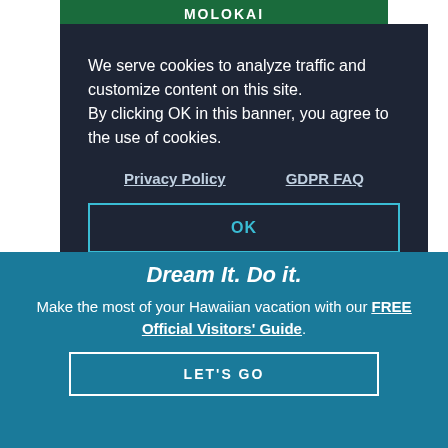MOLOKAI
We serve cookies to analyze traffic and customize content on this site.
By clicking OK in this banner, you agree to the use of cookies.
Privacy Policy    GDPR FAQ
OK
WEBSITE  >
BACK TO TOP
Dream It. Do it.
Make the most of your Hawaiian vacation with our FREE Official Visitors' Guide.
LET'S GO